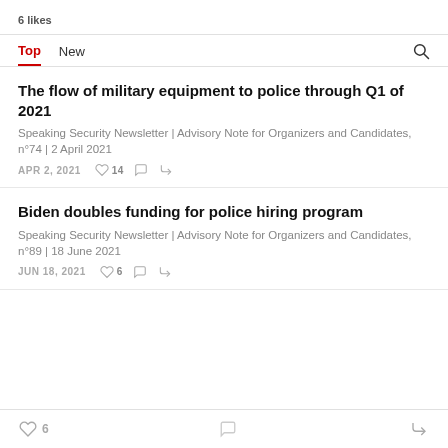6 likes
Top  New
The flow of military equipment to police through Q1 of 2021
Speaking Security Newsletter | Advisory Note for Organizers and Candidates, n°74 | 2 April 2021
APR 2, 2021  ♡ 14  ○  ⇪
Biden doubles funding for police hiring program
Speaking Security Newsletter | Advisory Note for Organizers and Candidates, n°89 | 18 June 2021
JUN 18, 2021  ♡ 6  ○  ⇪